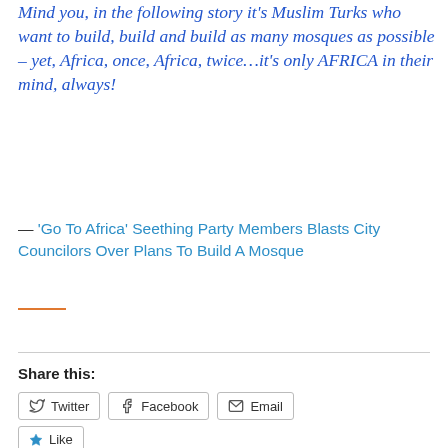Mind you, in the following story it's Muslim Turks who want to build, build and build as many mosques as possible – yet, Africa, once, Africa, twice…it's only AFRICA in their mind, always!
— 'Go To Africa' Seething Party Members Blasts City Councilors Over Plans To Build A Mosque
Share this:
Twitter  Facebook  Email
Like